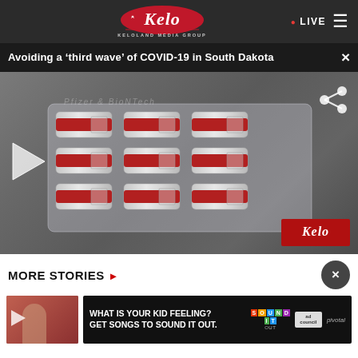KELOLAND Media Group — LIVE
Avoiding a ‘third wave’ of COVID-19 in South Dakota
[Figure (photo): Video thumbnail showing multiple COVID-19 vaccine vials with red bands in a tray, with a play button overlay and Kelo watermark]
MORE STORIES ›
[Figure (photo): Small thumbnail of a news story with a person, with play button overlay]
[Figure (advertisement): Ad banner: WHAT IS YOUR KID FEELING? GET SONGS TO SOUND IT OUT. — Sound It Out, Ad Council, Pivotal]